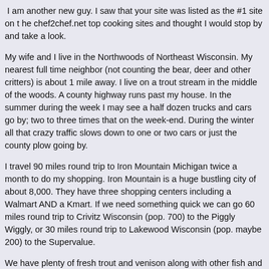I am another new guy. I saw that your site was listed as the #1 site on the chef2chef.net top cooking sites and thought I would stop by and take a look.
My wife and I live in the Northwoods of Northeast Wisconsin. My nearest full time neighbor (not counting the bear, deer and other critters) is about 1 mile away. I live on a trout stream in the middle of the woods. A county highway runs past my house. In the summer during the week I may see a half dozen trucks and cars go by; two to three times that on the week-end. During the winter all that crazy traffic slows down to one or two cars or just the county plow going by.
I travel 90 miles round trip to Iron Mountain Michigan twice a month to do my shopping. Iron Mountain is a huge bustling city of about 8,000. They have three shopping centers including a Walmart AND a Kmart. If we need something quick we can go 60 miles round trip to Crivitz Wisconsin (pop. 700) to the Piggly Wiggly, or 30 miles round trip to Lakewood Wisconsin (pop. maybe 200) to the Supervalue.
We have plenty of fresh trout and venison along with other fish and game. Almost everything else except meat is dried, frozen or canned. I figure that is a fair trade for seeing Yogi out my window rummaging through the bi...